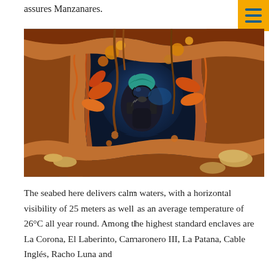assures Manzanares.
[Figure (photo): Underwater photograph of a scuba diver wearing a teal cap and black diving mask, visible through a heavily encrusted and corroded porthole or opening of a shipwreck, surrounded by orange, yellow, and brown marine growth and rust.]
The seabed here delivers calm waters, with a horizontal visibility of 25 meters as well as an average temperature of 26°C all year round. Among the highest standard enclaves are La Corona, El Laberinto, Camaronero III, La Patana, Cable Inglés, Racho Luna and